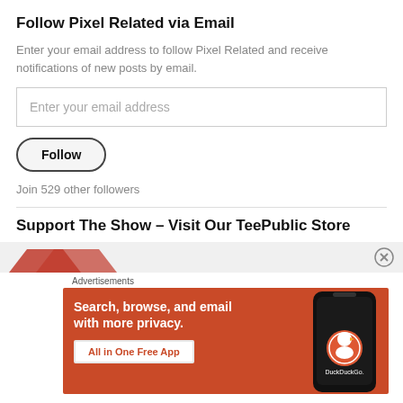Follow Pixel Related via Email
Enter your email address to follow Pixel Related and receive notifications of new posts by email.
Enter your email address
Follow
Join 529 other followers
Support The Show – Visit Our TeePublic Store
Advertisements
[Figure (screenshot): DuckDuckGo advertisement banner showing 'Search, browse, and email with more privacy. All in One Free App' with DuckDuckGo logo on an orange/red background with a phone mockup]